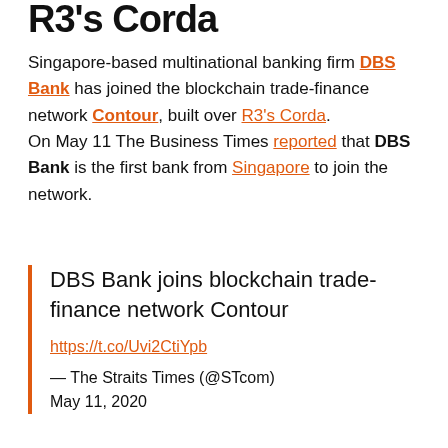R3's Corda
Singapore-based multinational banking firm DBS Bank has joined the blockchain trade-finance network Contour, built over R3's Corda.
On May 11 The Business Times reported that DBS Bank is the first bank from Singapore to join the network.
DBS Bank joins blockchain trade-finance network Contour
https://t.co/Uvi2CtiYpb
— The Straits Times (@STcom)
May 11, 2020